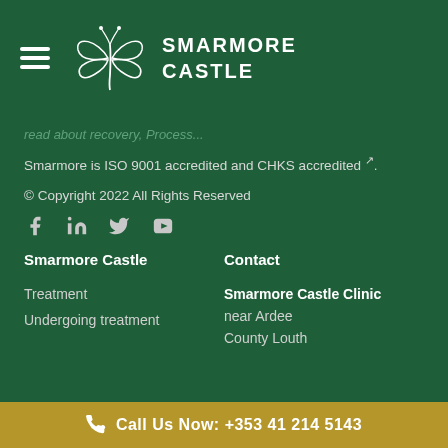[Figure (logo): Smarmore Castle logo with butterfly/scroll emblem and text SMARMORE CASTLE in white on dark green header bar]
read about recovery, Process...
Smarmore is ISO 9001 accredited and CHKS accredited ↗.
© Copyright 2022 All Rights Reserved
[Figure (infographic): Social media icons: Facebook, LinkedIn, Twitter, YouTube in light grey]
Smarmore Castle
Contact
Treatment
Undergoing treatment
Smarmore Castle Clinic
near Ardee
County Louth
Call Us Now: +353 41 214 5143